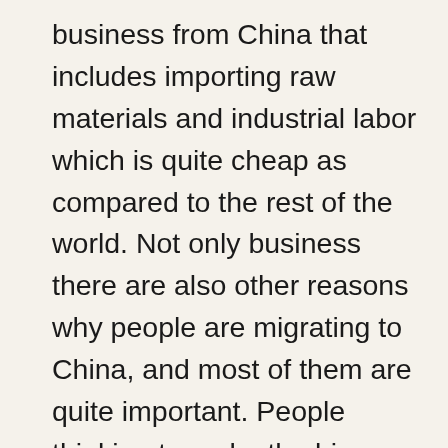business from China that includes importing raw materials and industrial labor which is quite cheap as compared to the rest of the world. Not only business there are also other reasons why people are migrating to China, and most of them are quite important. People thinking to make the big move to China should remember that they mainly speak the Chinese language there and are not so welcoming to learn English or any other language. If you want to take advantage of the Chinese industrial boom, be ready to accept Chinese value, culture and its language as well. There